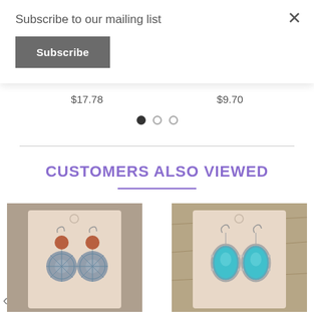Subscribe to our mailing list
Subscribe
$17.78
$9.70
CUSTOMERS ALSO VIEWED
[Figure (photo): Earrings with copper/brown beads and decorative silver mandala pendant on a beige card display, on a wooden surface]
[Figure (photo): Earrings with turquoise oval stones and silver hooks on a beige card display, on a wooden surface]